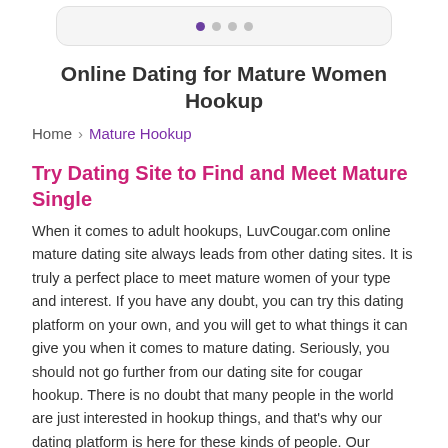[Figure (other): Navigation dots indicator with one active purple dot and three gray dots inside a rounded card/frame element]
Online Dating for Mature Women Hookup
Home > Mature Hookup
Try Dating Site to Find and Meet Mature Single
When it comes to adult hookups, LuvCougar.com online mature dating site always leads from other dating sites. It is truly a perfect place to meet mature women of your type and interest. If you have any doubt, you can try this dating platform on your own, and you will get to what things it can give you when it comes to mature dating. Seriously, you should not go further from our dating site for cougar hookup. There is no doubt that many people in the world are just interested in hookup things, and that's why our dating platform is here for these kinds of people. Our mature dating site is ideal to find and meet with singles in your area. If you are looking for ladies near you, then don't think too much and register on our dating site, where you